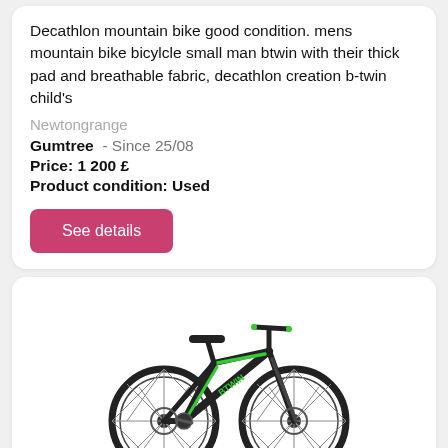Decathlon mountain bike good condition. mens mountain bike bicylcle small man btwin with their thick pad and breathable fabric, decathlon creation b-twin child's
Newtongrange
Gumtree  - Since 25/08
Price: 1 200 £
Product condition: Used
See details
[Figure (photo): Black and green mountain bike (Decathlon/Btwin style) shown on white background, side view facing left, with disc brakes and front suspension.]